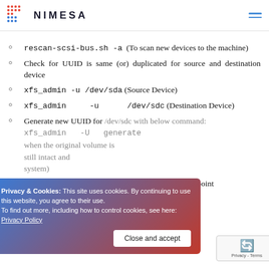NIMESA
rescan-scsi-bus.sh -a  (To scan new devices to the machine)
Check for UUID is same (or) duplicated for source and destination device
xfs_admin -u /dev/sda (Source Device)
xfs_admin -u /dev/sdc (Destination Device)
Generate new UUID for /dev/sdc with below command: xfs_admin -U generate /dev/sdc (Use this command only when the original volume is still intact and mounted to file system)
Mount the destination device id to the created mount point